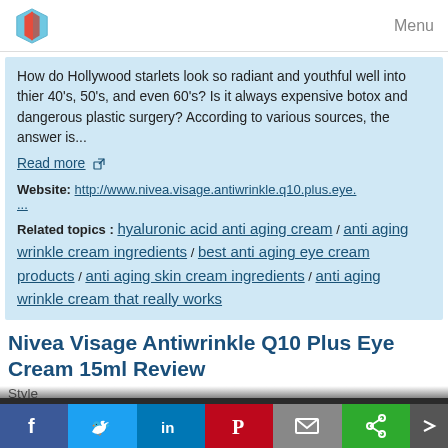Menu
How do Hollywood starlets look so radiant and youthful well into thier 40's, 50's, and even 60's? Is it always expensive botox and dangerous plastic surgery? According to various sources, the answer is...
Read more
Website: http://www.nivea.visage.antiwrinkle.q10.plus.eye....
Related topics : hyaluronic acid anti aging cream / anti aging wrinkle cream ingredients / best anti aging eye cream products / anti aging skin cream ingredients / anti aging wrinkle cream that really works
Nivea Visage Antiwrinkle Q10 Plus Eye Cream 15ml Review
Style
Discover The 5 Solution to a Wrinkle Free Face - ALL